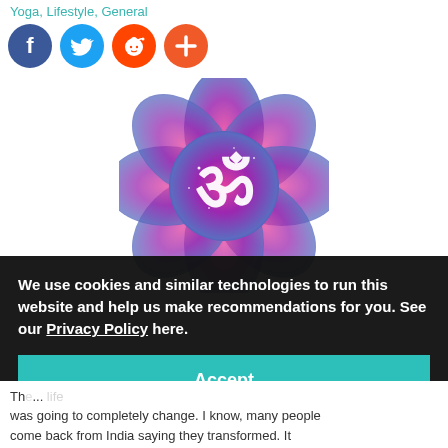Yoga, Lifestyle, General
[Figure (illustration): Social media share icons: Facebook (blue circle), Twitter (blue circle), Reddit (orange circle), Plus/share (orange-red circle)]
[Figure (illustration): Cosmic/galaxy Om symbol in a lotus flower shape, with purple, blue, pink watercolor style and white Om (ॐ) glyph in center]
We use cookies and similar technologies to run this website and help us make recommendations for you. See our Privacy Policy here.
Accept
The... life was going to completely change. I know, many people come back from India saying they transformed. It